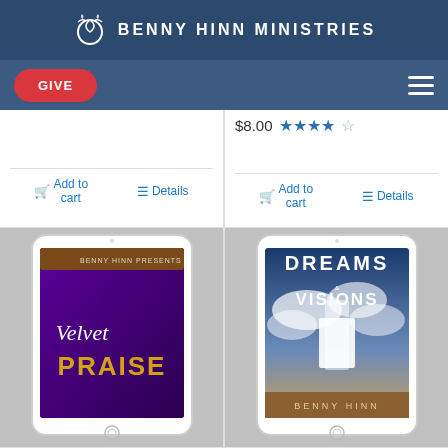BENNY HINN MINISTRIES
GIVE
$8.00 ★★★★☆
Add to cart  Details
Add to cart  Details
[Figure (illustration): Tablet device showing 'Velvet Praise' book cover with purple background and gold text, by Benny Hinn]
[Figure (illustration): Tablet device showing 'Dreams & Visions' book cover with cloudy sky background, by Benny Hinn]